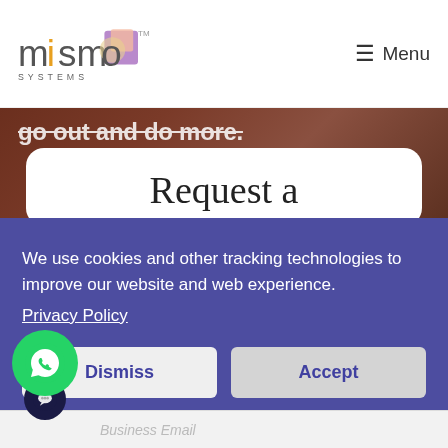mismo SYSTEMS | Menu
go out and do more.
Request a
We use cookies and other tracking technologies to improve our website and web experience.
Privacy Policy
Dismiss
Accept
Business Email